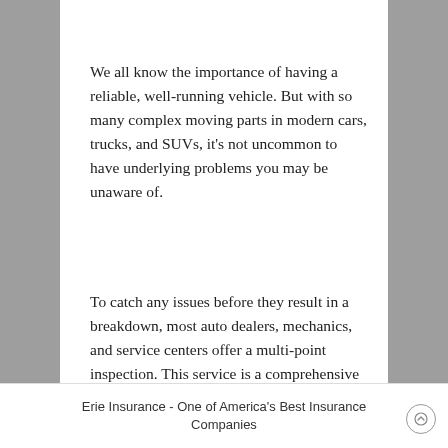We all know the importance of having a reliable, well-running vehicle. But with so many complex moving parts in modern cars, trucks, and SUVs, it's not uncommon to have underlying problems you may be unaware of.
To catch any issues before they result in a breakdown, most auto dealers, mechanics, and service centers offer a multi-point inspection. This service is a comprehensive evaluation of nearly every component of your vehicle. They can also be called a courtesy check, vehicle inspection, maintenance inspection, or pre-
Erie Insurance - One of America's Best Insurance Companies